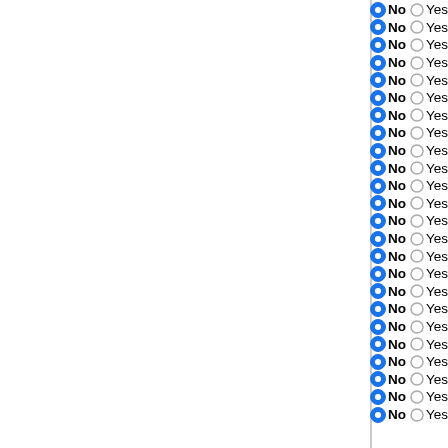No / Yes — Flavobacteriaceae bacterium
No / Yes — Polaribacter sp. MED152
No / Yes — Riemerella anatipestifer ATC
No / Yes — Flavobacterium indicum GPT
No / Yes — Flavobacterium branchiophil
No / Yes — Flavobacterium columnare A
No / Yes — Flavobacterium johnsoniae U
No / Yes — Fibrobacter succinogenes su
No / Yes — Phycisphaera mikurensis NB
No / Yes — Isosphaera pallida ATCC 436
No / Yes — Planctomyces brasiliensis DS
No / Yes — Planctomyces limnophilus DS
No / Yes — Rhodopirellula baltica SH 1
No / Yes — Pirellula staleyi DSM 6068
No / Yes — Coraliomargarita akajimensis
No / Yes — Opitutus terrae PB90-1
No / Yes — Akkermansia muciniphila ATC
No / Yes — Thermovirga lienii DSM 1729
No / Yes — Thermanaeorovibrio acidamin
No / Yes — Anaerobaculum mobile DSM
No / Yes — Turneriella parva DSM 21527
No / Yes — Leptospira borgpetersenii se
No / Yes — Leptospira interrogans serov
No / Yes — Leptospira biflexa serovar Po